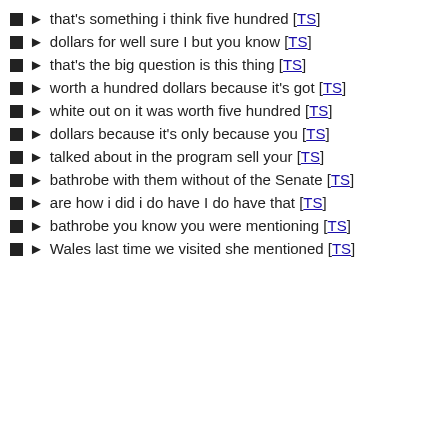that's something i think five hundred [TS]
dollars for well sure I but you know [TS]
that's the big question is this thing [TS]
worth a hundred dollars because it's got [TS]
white out on it was worth five hundred [TS]
dollars because it's only because you [TS]
talked about in the program sell your [TS]
bathrobe with them without of the Senate [TS]
are how i did i do have I do have that [TS]
bathrobe you know you were mentioning [TS]
Wales last time we visited she mentioned [TS]